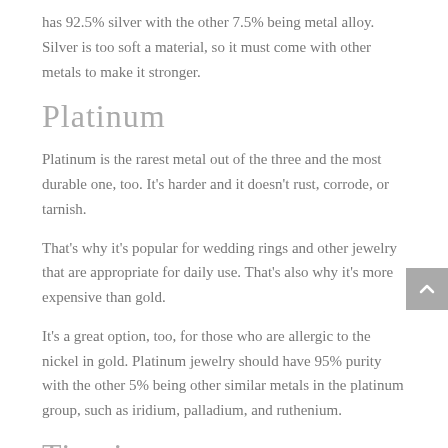has 92.5% silver with the other 7.5% being metal alloy. Silver is too soft a material, so it must come with other metals to make it stronger.
Platinum
Platinum is the rarest metal out of the three and the most durable one, too. It's harder and it doesn't rust, corrode, or tarnish.
That's why it's popular for wedding rings and other jewelry that are appropriate for daily use. That's also why it's more expensive than gold.
It's a great option, too, for those who are allergic to the nickel in gold. Platinum jewelry should have 95% purity with the other 5% being other similar metals in the platinum group, such as iridium, palladium, and ruthenium.
Titanium